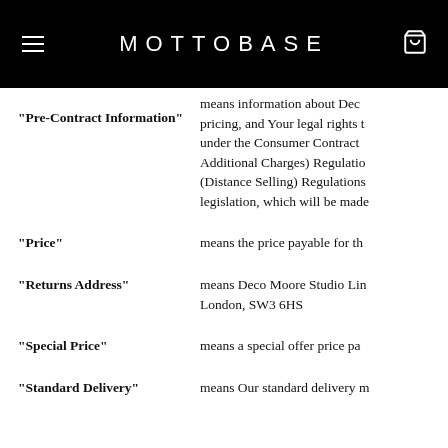MOTTOBASE
"Pre-Contract Information" means information about Deco pricing, and Your legal rights to cancel under the Consumer Contracts (Information, Cancellation and Additional Charges) Regulations 2013, the Consumer Protection (Distance Selling) Regulations 2000, and any other applicable legislation, which will be made
"Price" means the price payable for th
"Returns Address" means Deco Moore Studio Lin London, SW3 6HS
"Special Price" means a special offer price pa
"Standard Delivery" means Our standard delivery m